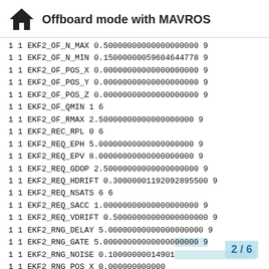Offboard mode with MAVROS
1 1 EKF2_OF_N_MAX 0.50000000000000000000 9
1 1 EKF2_OF_N_MIN 0.15000000059604644778 9
1 1 EKF2_OF_POS_X 0.00000000000000000000 9
1 1 EKF2_OF_POS_Y 0.00000000000000000000 9
1 1 EKF2_OF_POS_Z 0.00000000000000000000 9
1 1 EKF2_OF_QMIN 1 6
1 1 EKF2_OF_RMAX 2.50000000000000000000 9
1 1 EKF2_REC_RPL 0 6
1 1 EKF2_REQ_EPH 5.00000000000000000000 9
1 1 EKF2_REQ_EPV 8.00000000000000000000 9
1 1 EKF2_REQ_GDOP 2.50000000000000000000 9
1 1 EKF2_REQ_HDRIFT 0.30000001192092895500 9
1 1 EKF2_REQ_NSATS 6 6
1 1 EKF2_REQ_SACC 1.00000000000000000000 9
1 1 EKF2_REQ_VDRIFT 0.50000000000000000000 9
1 1 EKF2_RNG_DELAY 5.00000000000000000000 9
1 1 EKF2_RNG_GATE 5.000000000000000000 9
1 1 EKF2_RNG_NOISE 0.10000000014901...
1 1 EKF2_RNG_POS_X 0.000000000000...
2 / 6